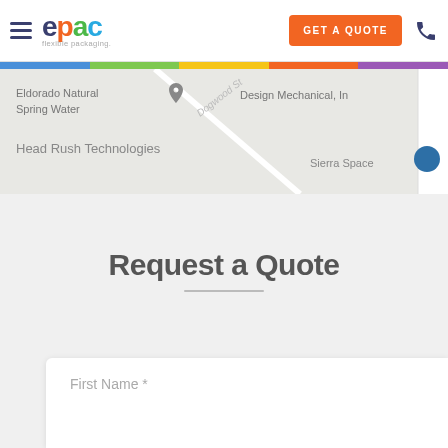epac flexible packaging — GET A QUOTE
[Figure (map): Google Maps screenshot showing local businesses near ePac location. Labels visible: Eldorado Natural Spring Water, Dogwood St, Design Mechanical In, Head Rush Technologies, Sierra Space.]
Request a Quote
First Name *